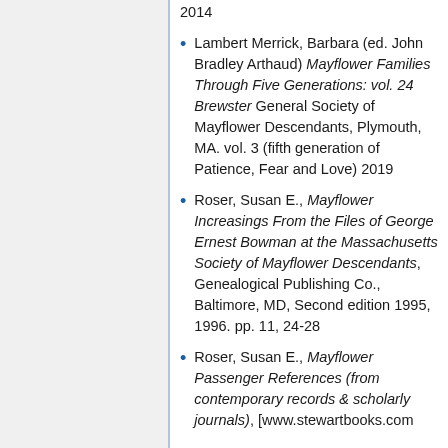2014
Lambert Merrick, Barbara (ed. John Bradley Arthaud) Mayflower Families Through Five Generations: vol. 24 Brewster General Society of Mayflower Descendants, Plymouth, MA. vol. 3 (fifth generation of Patience, Fear and Love) 2019
Roser, Susan E., Mayflower Increasings From the Files of George Ernest Bowman at the Massachusetts Society of Mayflower Descendants, Genealogical Publishing Co., Baltimore, MD, Second edition 1995, 1996. pp. 11, 24-28
Roser, Susan E., Mayflower Passenger References (from contemporary records & scholarly journals), [www.stewartbooks.com